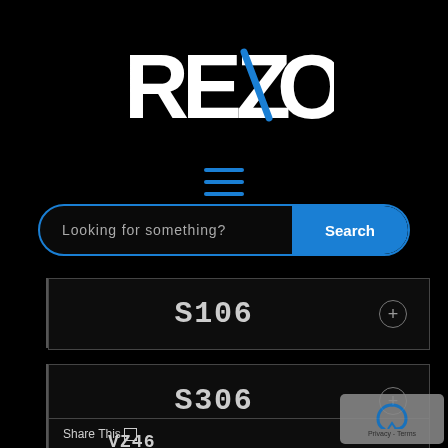[Figure (logo): REZO logo in white bold text with a blue diagonal slash through the Z letter, on black background]
[Figure (other): Hamburger menu icon: three horizontal blue lines]
Looking for something?
Search
S106
S306
Share This
VZ46